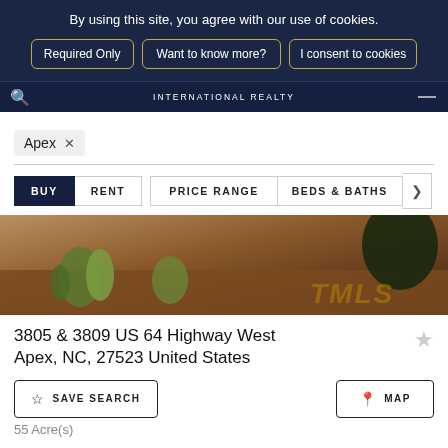By using this site, you agree with our use of cookies.
Required Only
Want to know more?
I consent to cookies
INTERNATIONAL REALTY
Apex ×
BUY  RENT  PRICE RANGE  BEDS & BATHS
[Figure (photo): Outdoor landscape photo showing dirt ground with grass plants and a TMLS watermark]
3805 & 3809 US 64 Highway West Apex, NC, 27523 United States
☆ SAVE SEARCH
⊙ MAP
55 Acre(s)